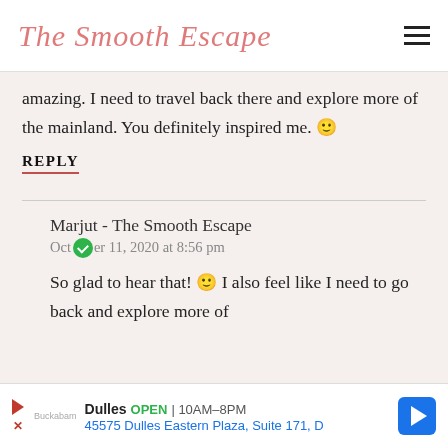The Smooth Escape
amazing. I need to travel back there and explore more of the mainland. You definitely inspired me. 🙂
REPLY
Marjut - The Smooth Escape
October 11, 2020 at 8:56 pm
So glad to hear that! 🙂 I also feel like I need to go back and explore more of
Dulles OPEN | 10AM–8PM
45575 Dulles Eastern Plaza, Suite 171, D